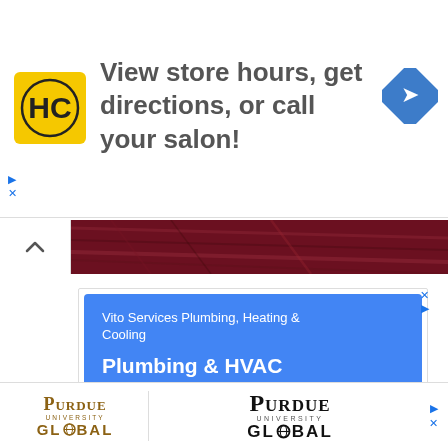[Figure (screenshot): Top advertisement banner for Hair Cuttery (HC logo) with text 'View store hours, get directions, or call your salon!' and a blue navigation diamond icon on the right.]
[Figure (photo): Collapsed navigation strip showing a chevron/up arrow button on the left and a partial close-up photo of reddish-purple hair texture on the right.]
[Figure (screenshot): Blue Google display ad for Vito Services Plumbing, Heating & Cooling with subtitle 'Vito Services Plumbing, Heating & Cooling', headline 'Plumbing & HVAC Professionals', and body text 'Call Vito Services for all of Your Plumbing & HVAC Needs'. Below the blue ad is a partial map screenshot.]
[Figure (screenshot): Bottom advertisement banner showing Purdue Global logo twice — left version in gold/sepia with small caps text, right version in black bold with 'PURDUE UNIVERSITY GLOBAL' text. Ad controls (arrow and X icons) visible on the right.]